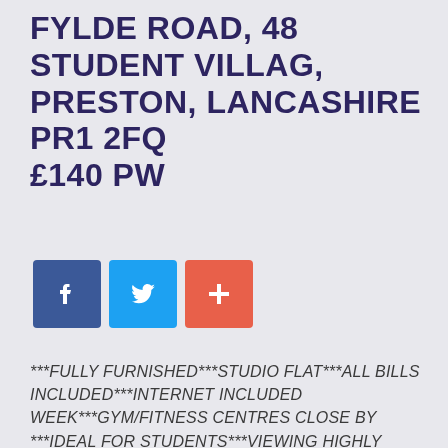FYLDE ROAD, 48 STUDENT VILLAG, PRESTON, LANCASHIRE PR1 2FQ £140 PW
[Figure (other): Social media share buttons: Facebook (blue), Twitter (light blue), and Google+ / add (orange-red)]
***FULLY FURNISHED***STUDIO FLAT***ALL BILLS INCLUDED***INTERNET INCLUDED WEEK***GYM/FITNESS CENTRES CLOSE BY ***IDEAL FOR STUDENTS***VIEWING HIGHLY RECOMMENDED***PRIVATE PARKING***MODERN APARTMENT***ONSITE MAINTENANCE TEAM***